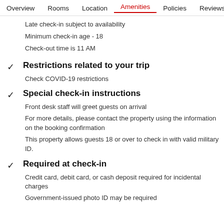Overview  Rooms  Location  Amenities  Policies  Reviews
Late check-in subject to availability
Minimum check-in age - 18
Check-out time is 11 AM
Restrictions related to your trip
Check COVID-19 restrictions
Special check-in instructions
Front desk staff will greet guests on arrival
For more details, please contact the property using the information on the booking confirmation
This property allows guests 18 or over to check in with valid military ID.
Required at check-in
Credit card, debit card, or cash deposit required for incidental charges
Government-issued photo ID may be required